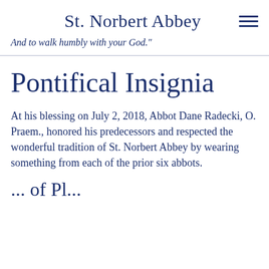St. Norbert Abbey
And to walk humbly with your God."
Pontifical Insignia
At his blessing on July 2, 2018, Abbot Dane Radecki, O. Praem., honored his predecessors and respected the wonderful tradition of St. Norbert Abbey by wearing something from each of the prior six abbots.
... of Pl...